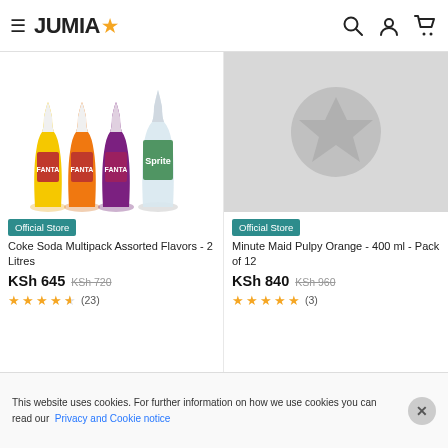JUMIA
[Figure (photo): Fanta and Sprite bottles - Coke Soda Multipack Assorted Flavors product image]
[Figure (photo): Placeholder image with star icon for Minute Maid Pulpy Orange product]
Official Store
Coke Soda Multipack Assorted Flavors - 2 Litres
KSh 645 KSh 720
★★★★½ (23)
Official Store
Minute Maid Pulpy Orange - 400 ml - Pack of 12
KSh 840 KSh 960
★★★★★ (3)
POPULARITY FILTER
This website uses cookies. For further information on how we use cookies you can read our Privacy and Cookie notice